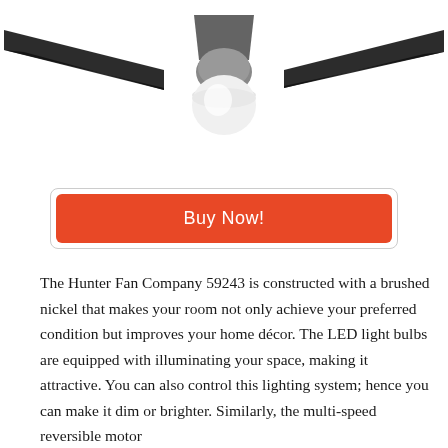[Figure (photo): Ceiling fan with black blades and white globe light fixture, viewed from above/side angle. Brushed nickel finish visible on the motor housing.]
Buy Now!
The Hunter Fan Company 59243 is constructed with a brushed nickel that makes your room not only achieve your preferred condition but improves your home décor. The LED light bulbs are equipped with illuminating your space, making it attractive. You can also control this lighting system; hence you can make it dim or brighter. Similarly, the multi-speed reversible motor